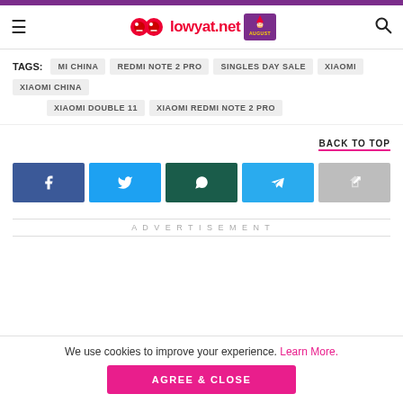lowyat.net
TAGS: MI CHINA  REDMI NOTE 2 PRO  SINGLES DAY SALE  XIAOMI  XIAOMI CHINA  XIAOMI DOUBLE 11  XIAOMI REDMI NOTE 2 PRO
BACK TO TOP
[Figure (other): Social share buttons: Facebook, Twitter, WhatsApp, Telegram, Share]
ADVERTISEMENT
We use cookies to improve your experience. Learn More.
AGREE & CLOSE